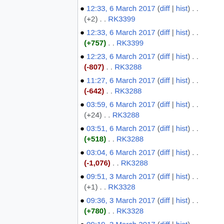12:33, 6 March 2017 (diff | hist) . . (+2) . . RK3399
12:33, 6 March 2017 (diff | hist) . . (+757) . . RK3399
12:23, 6 March 2017 (diff | hist) . . (-807) . . RK3288
11:27, 6 March 2017 (diff | hist) . . (-642) . . RK3288
03:59, 6 March 2017 (diff | hist) . . (+24) . . RK3288
03:51, 6 March 2017 (diff | hist) . . (+518) . . RK3288
03:04, 6 March 2017 (diff | hist) . . (-1,076) . . RK3288
09:51, 3 March 2017 (diff | hist) . . (+1) . . RK3328
09:36, 3 March 2017 (diff | hist) . . (+780) . . RK3328
09:19, 3 March 2017 (diff | hist) . . (-20) . . RK3328